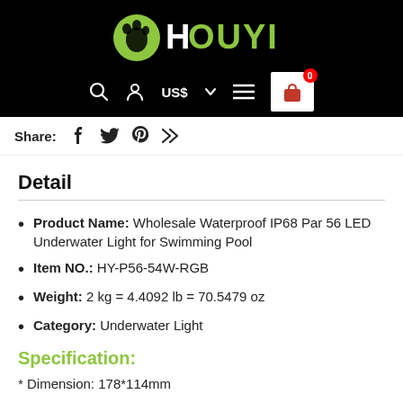HOUYI
Share: [social icons]
Detail
Product Name: Wholesale Waterproof IP68 Par 56 LED Underwater Light for Swimming Pool
Item NO.: HY-P56-54W-RGB
Weight: 2 kg = 4.4092 lb = 70.5479 oz
Category: Underwater Light
Specification:
* Dimension: 178*114mm